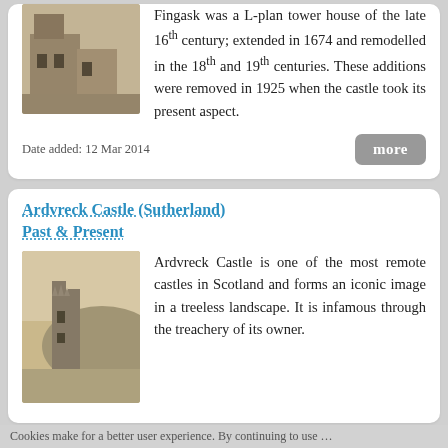[Figure (photo): Black and white photo of Fingask Castle, a stone building visible from street level]
Fingask was a L-plan tower house of the late 16th century; extended in 1674 and remodelled in the 18th and 19th centuries. These additions were removed in 1925 when the castle took its present aspect.
Date added: 12 Mar 2014
Ardvreck Castle (Sutherland) Past & Present
[Figure (photo): Black and white photo of Ardvreck Castle ruins against a hillside]
Ardvreck Castle is one of the most remote castles in Scotland and forms an iconic image in a treeless landscape. It is infamous through the treachery of its owner.
Cookies make for a better user experience. By continuing to use ...